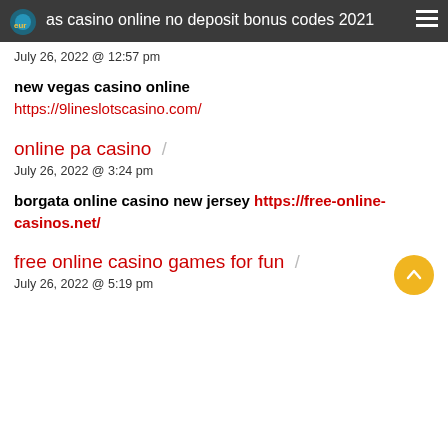eurogoas casino online no deposit bonus codes 2021
July 26, 2022 @ 12:57 pm
new vegas casino online https://9lineslotscasino.com/
online pa casino /
July 26, 2022 @ 3:24 pm
borgata online casino new jersey https://free-online-casinos.net/
free online casino games for fun /
July 26, 2022 @ 5:19 pm